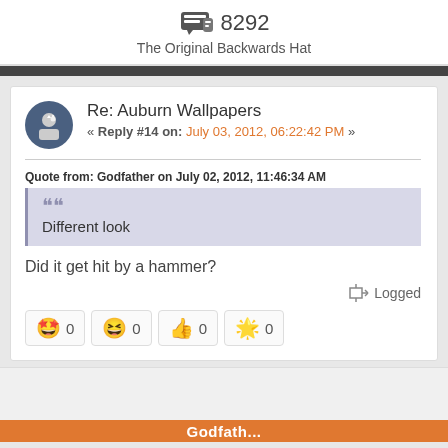8292
The Original Backwards Hat
Re: Auburn Wallpapers
« Reply #14 on: July 03, 2012, 06:22:42 PM »
Quote from: Godfather on July 02, 2012, 11:46:34 AM
Different look
Did it get hit by a hammer?
Logged